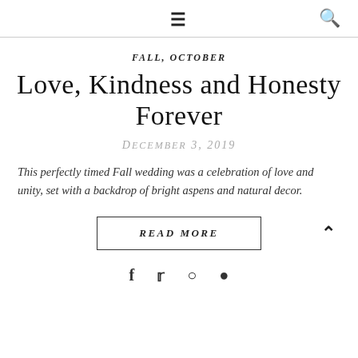≡  🔍
FALL, OCTOBER
Love, Kindness and Honesty Forever
December 3, 2019
This perfectly timed Fall wedding was a celebration of love and unity, set with a backdrop of bright aspens and natural decor.
READ MORE
social icons